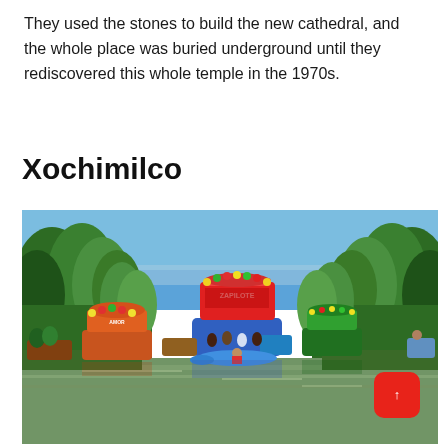They used the stones to build the new cathedral, and the whole place was buried underground until they rediscovered this whole temple in the 1970s.
Xochimilco
[Figure (photo): Photo of Xochimilco canal with colorful trajinera boats decorated with flowers and text, surrounded by lush green trees on both sides, with reflections in the water. A red scroll-to-top button is overlaid in the bottom right corner.]